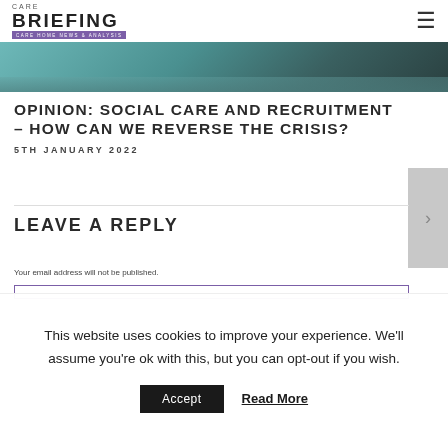CARE BRIEFING — CARE HOME NEWS & ANALYSIS
[Figure (photo): Partial hero image strip showing blurred teal/blue tones, appears to be a person in a care setting]
OPINION: SOCIAL CARE AND RECRUITMENT – HOW CAN WE REVERSE THE CRISIS?
5TH JANUARY 2022
LEAVE A REPLY
Your email address will not be published.
This website uses cookies to improve your experience. We'll assume you're ok with this, but you can opt-out if you wish.
Accept   Read More